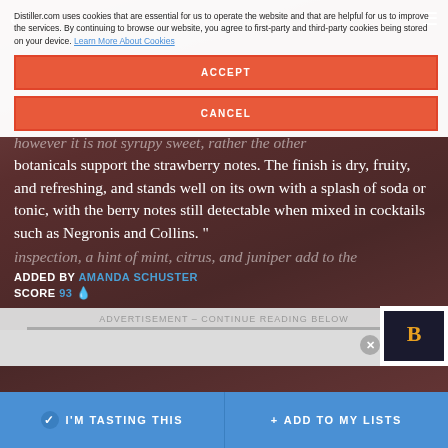DISTILLER
Distiller.com uses cookies that are essential for us to operate the website and that are helpful for us to improve the services. By continuing to browse our website, you agree to first-party and third-party cookies being stored on your device. Learn More About Cookies
ACCEPT
CANCEL
"Aromas of ripe strawberries are immediately detectable inspection, a hint of mint, citrus, and juniper add to the however it is not syrupy sweet, rather the other botanicals support the strawberry notes. The finish is dry, fruity, and refreshing, and stands well on its own with a splash of soda or tonic, with the berry notes still detectable when mixed in cocktails such as Negronis and Collins. "
ADDED BY AMANDA SCHUSTER
SCORE 93
ADVERTISEMENT – CONTINUE READING BELOW
I'M TASTING THIS
+ ADD TO MY LISTS